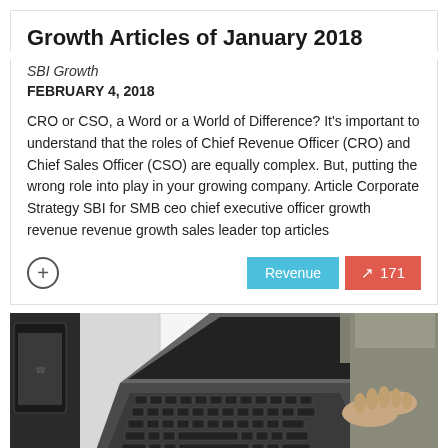Growth Articles of January 2018
SBI Growth
FEBRUARY 4, 2018
CRO or CSO, a Word or a World of Difference? It's important to understand that the roles of Chief Revenue Officer (CRO) and Chief Sales Officer (CSO) are equally complex. But, putting the wrong role into play in your growing company. Article Corporate Strategy SBI for SMB ceo chief executive officer growth revenue revenue growth sales leader top articles
[Figure (photo): Person typing on a laptop keyboard viewed from above at a desk, with a phone visible on the left side]